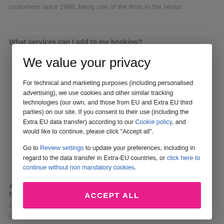customers since 1998, being one of the firsts in the sector.
What services can I add to my booking?
We value your privacy
For technical and marketing purposes (including personalised advertising), we use cookies and other similar tracking technologies (our own, and those from EU and Extra EU third parties) on our site. If you consent to their use (including the Extra EU data transfer) according to our Cookie policy, and would like to continue, please click "Accept all".
Go to Review settings to update your preferences, including in regard to the data transfer in Extra-EU countries, or click here to continue without non mandatory cookies.
ACCEPT ALL
At what time can I have my room? And what time do I have to leave?
Check-in and check-out times vary according to the property. However, the schedules are usually as follows...